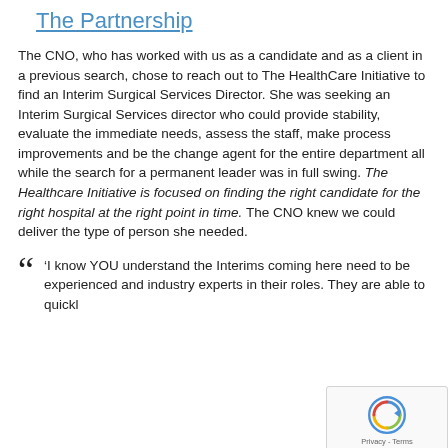The Partnership
The CNO, who has worked with us as a candidate and as a client in a previous search, chose to reach out to The HealthCare Initiative to find an Interim Surgical Services Director. She was seeking an Interim Surgical Services director who could provide stability, evaluate the immediate needs, assess the staff, make process improvements and be the change agent for the entire department all while the search for a permanent leader was in full swing. The Healthcare Initiative is focused on finding the right candidate for the right hospital at the right point in time. The CNO knew we could deliver the type of person she needed.
‘I know YOU understand the Interims coming here need to be experienced and industry experts in their roles. They are able to quickl…